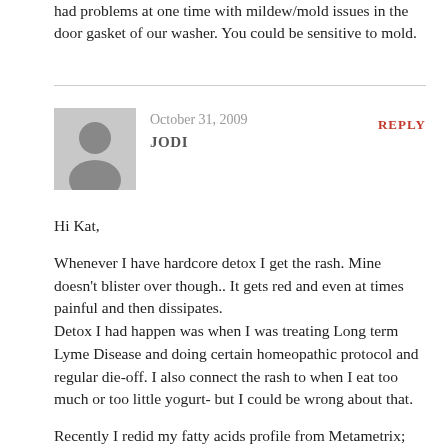had problems at one time with mildew/mold issues in the door gasket of our washer. You could be sensitive to mold.
October 31, 2009
JODI
REPLY
Hi Kat,
Whenever I have hardcore detox I get the rash. Mine doesn't blister over though.. It gets red and even at times painful and then dissipates.
Detox I had happen was when I was treating Long term Lyme Disease and doing certain homeopathic protocol and regular die-off. I also connect the rash to when I eat too much or too little yogurt- but I could be wrong about that.
Recently I redid my fatty acids profile from Metametrix;
http://www.metametrix.com/content/DirectoryOfServices/0040FattyAcids-Plasma
I added Borage oil and it seems to have helped my over all skin